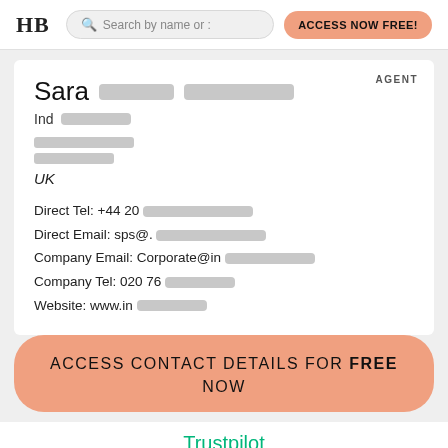HB | Search by name or : | ACCESS NOW FREE!
Sara [redacted] [redacted]
Ind [redacted]
[redacted]
[redacted]
UK

Direct Tel: +44 20 [redacted]
Direct Email: sps@.[redacted]
Company Email: Corporate@in[redacted]
Company Tel: 020 76[redacted]
Website: www.in[redacted]
AGENT
ACCESS CONTACT DETAILS FOR FREE NOW
Trustpilot
THOUSANDS HAVE ALREADY JOINED!
JOIN NOW